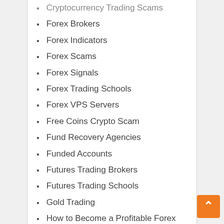Cryptocurrency Trading Scams
Forex Brokers
Forex Indicators
Forex Scams
Forex Signals
Forex Trading Schools
Forex VPS Servers
Free Coins Crypto Scam
Fund Recovery Agencies
Funded Accounts
Futures Trading Brokers
Futures Trading Schools
Gold Trading
How to Become a Profitable Forex Trader
How to Double Your Money
How to Retire on Bitcoin